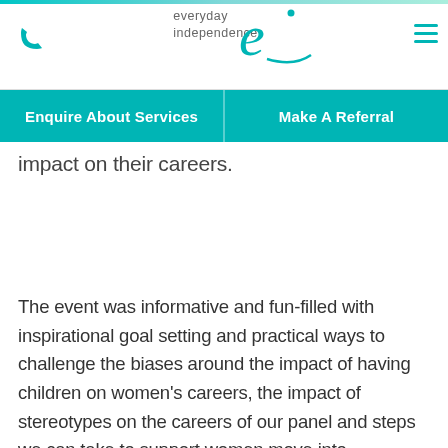everyday independence [logo with stylized e]
Enquire About Services | Make A Referral
impact on their careers.
The event was informative and fun-filled with inspirational goal setting and practical ways to challenge the biases around the impact of having children on women's careers, the impact of stereotypes on the careers of our panel and steps we can take to support women move into leadership roles.